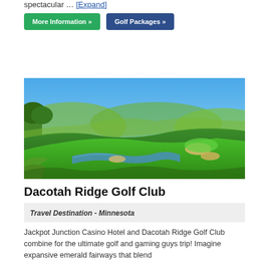spectacular … [Expand]
More Information »
Golf Packages »
[Figure (photo): Aerial view of Dacotah Ridge Golf Club showing rolling emerald green fairways, sand bunkers, a water hazard/stream winding through the course, and a bright blue sky in the background.]
Dacotah Ridge Golf Club
Travel Destination - Minnesota
Jackpot Junction Casino Hotel and Dacotah Ridge Golf Club combine for the ultimate golf and gaming guys trip! Imagine expansive emerald fairways that blend